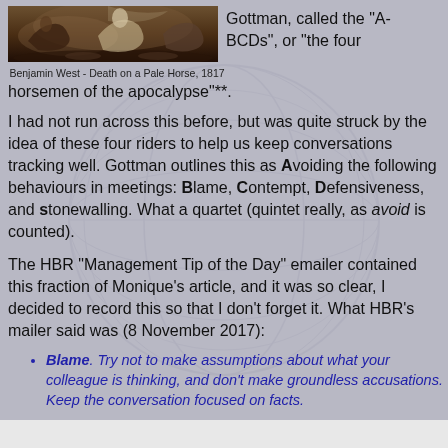[Figure (illustration): Painting: Benjamin West - Death on a Pale Horse, 1817. Dark battle scene with figures and horses.]
Benjamin West - Death on a Pale Horse, 1817
Gottman, called the "A-BCDs", or "the four horsemen of the apocalypse"**.
I had not run across this before, but was quite struck by the idea of these four riders to help us keep conversations tracking well. Gottman outlines this as Avoiding the following behaviours in meetings: Blame, Contempt, Defensiveness, and stonewalling. What a quartet (quintet really, as avoid is counted).
The HBR "Management Tip of the Day" emailer contained this fraction of Monique's article, and it was so clear, I decided to record this so that I don't forget it. What HBR's mailer said was (8 November 2017):
Blame. Try not to make assumptions about what your colleague is thinking, and don't make groundless accusations. Keep the conversation focused on facts.